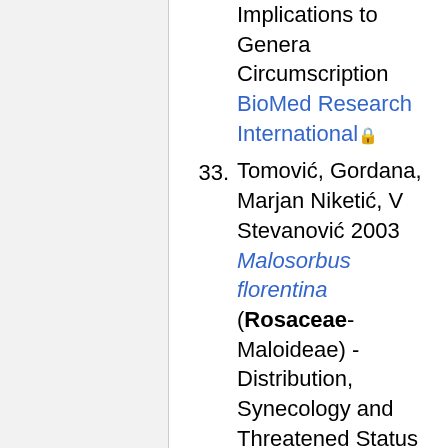Implications to Genera Circumscription BioMed Research International [lock] (continuation of previous item)
33. Tomović, Gordana, Marjan Niketić, V Stevanović 2003 Malosorbus florentina (Rosaceae-Maloideae) - Distribution, Synecology and Threatened Status in Serbia Phyton [ext link] 43(2):295-306
34. Yang, Yuen-Po and Ho-Yih Liu 2002 Nomenclature Changes...